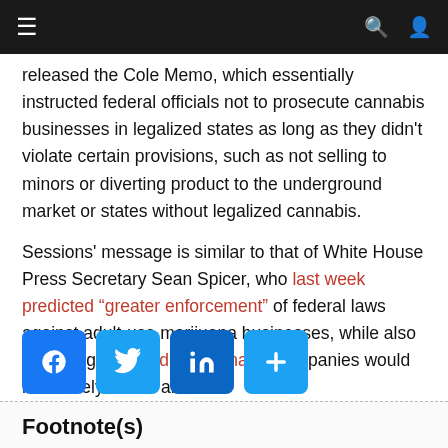≡  🔍  👤
released the Cole Memo, which essentially instructed federal officials not to prosecute cannabis businesses in legalized states as long as they didn't violate certain provisions, such as not selling to minors or diverting product to the underground market or states without legalized cannabis.
Sessions' message is similar to that of White House Press Secretary Sean Spicer, who last week predicted "greater enforcement" of federal laws against adult-use marijuana businesses, while also indicating that medical cannabis companies would most likely be left alone.
[Figure (other): Social sharing buttons: Facebook, Twitter, LinkedIn, and a plus/share button]
Footnote(s)